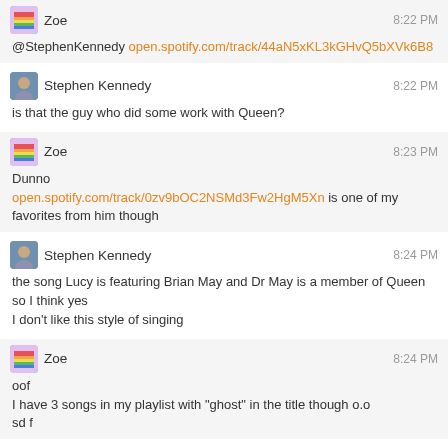Zoe 8:22 PM
@StephenKennedy open.spotify.com/track/44aN5xKL3kGHvQ5bXVk6B8
Stephen Kennedy 8:22 PM
is that the guy who did some work with Queen?
Zoe 8:23 PM
Dunno
open.spotify.com/track/0zv9bOC2NSMd3Fw2HgM5Xn is one of my favorites from him though
Stephen Kennedy 8:24 PM
the song Lucy is featuring Brian May and Dr May is a member of Queen so I think yes
I don't like this style of singing
Zoe 8:24 PM
oof
I have 3 songs in my playlist with "ghost" in the title though o.o
sd f
Stephen Kennedy 8:25 PM
this second one is better
"Ghost Town" by The Specials was a UK number 1 iirc
Zoe 8:26 PM
The other two are open.spotify.com/track/1Sao6YuJ4c133gemipn2lg and open.spotify.com/track/5dcYoYFAXh0f0ql05AoufB